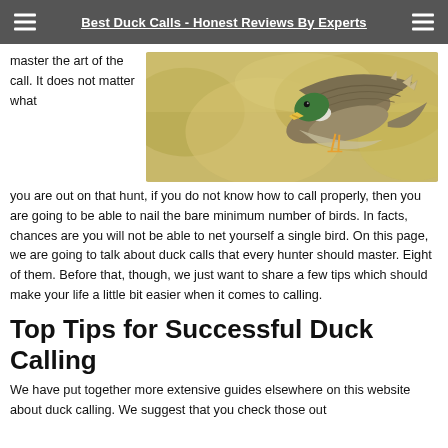Best Duck Calls - Honest Reviews By Experts
master the art of the call. It does not matter what
[Figure (photo): A mallard duck in flight with wings spread, against a golden blurred background of foliage.]
you are out on that hunt, if you do not know how to call properly, then you are going to be able to nail the bare minimum number of birds. In facts, chances are you will not be able to net yourself a single bird. On this page, we are going to talk about duck calls that every hunter should master. Eight of them. Before that, though, we just want to share a few tips which should make your life a little bit easier when it comes to calling.
Top Tips for Successful Duck Calling
We have put together more extensive guides elsewhere on this website about duck calling. We suggest that you check those out